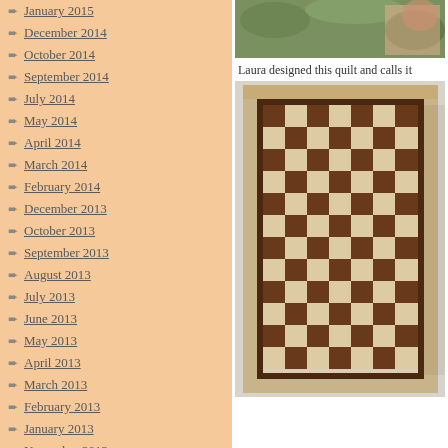January 2015
December 2014
October 2014
September 2014
July 2014
May 2014
April 2014
March 2014
February 2014
December 2013
October 2013
September 2013
August 2013
July 2013
June 2013
May 2013
April 2013
March 2013
February 2013
January 2013
November 2012
[Figure (photo): Photo of person holding a quilt, cropped at top]
Laura designed this quilt and calls it
[Figure (photo): Brown and cream checkerboard patterned quilt with dark border]